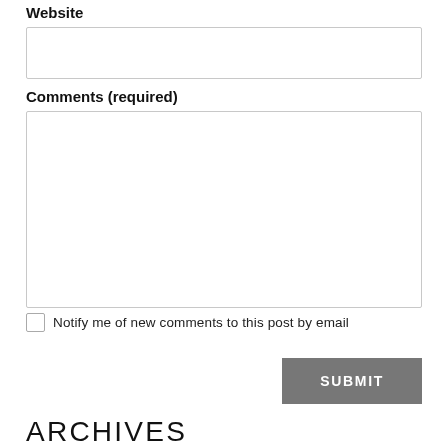Website
Comments (required)
Notify me of new comments to this post by email
SUBMIT
ARCHIVES